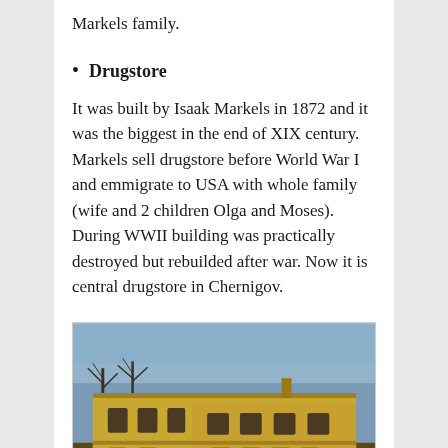Markels family.
Drugstore
It was built by Isaak Markels in 1872 and it was the biggest in the end of XIX century. Markels sell drugstore before World War I and emmigrate to USA with whole family (wife and 2 children Olga and Moses). During WWII building was practically destroyed but rebuilded after war. Now it is central drugstore in Chernigov.
[Figure (photo): Photograph of a yellow two-story historic building, the drugstore in Chernigov, with bare trees in front and a blue sky background.]